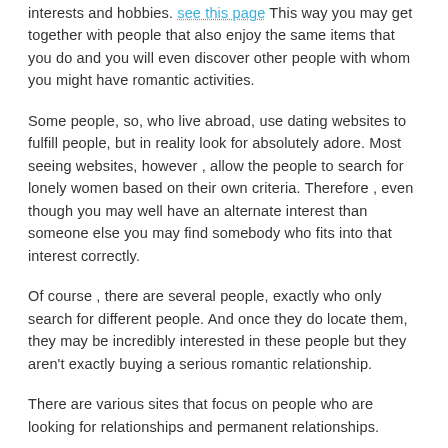interests and hobbies. see this page This way you may get together with people that also enjoy the same items that you do and you will even discover other people with whom you might have romantic activities.
Some people, so, who live abroad, use dating websites to fulfill people, but in reality look for absolutely adore. Most seeing websites, however , allow the people to search for lonely women based on their own criteria. Therefore , even though you may well have an alternate interest than someone else you may find somebody who fits into that interest correctly.
Of course , there are several people, exactly who only search for different people. And once they do locate them, they may be incredibly interested in these people but they aren't exactly buying a serious romantic relationship.
There are various sites that focus on people who are looking for relationships and permanent relationships.